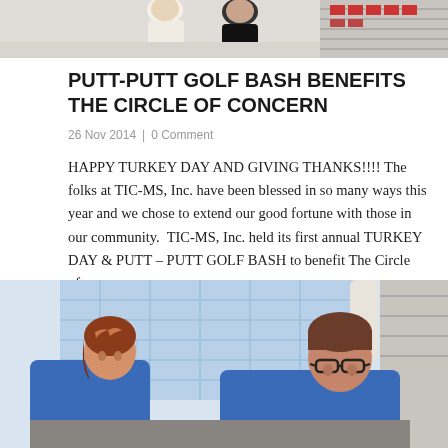[Figure (photo): Top portion of a photo showing people near shelving/boxes, partially cropped]
PUTT-PUTT GOLF BASH BENEFITS THE CIRCLE OF CONCERN
26 Nov 2014  |  0 Comment
HAPPY TURKEY DAY AND GIVING THANKS!!!! The folks at TIC-MS, Inc. have been blessed in so many ways this year and we chose to extend our good fortune with those in our community.  TIC-MS, Inc. held its first annual TURKEY DAY & PUTT – PUTT GOLF BASH to benefit The Circle of...
[Figure (photo): Photo of two people wearing blue work uniforms/coveralls leaning over a surface, looking at documents or blueprints. Background shows shelving and blueprints pinned to a wall.]